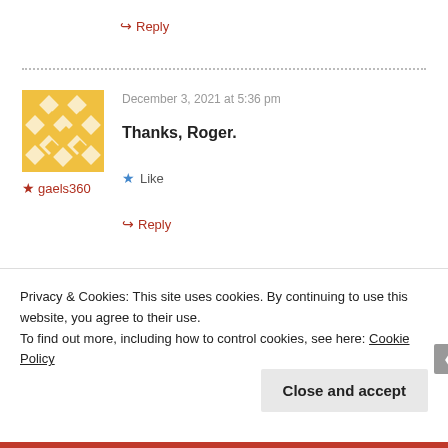↪ Reply
December 3, 2021 at 5:36 pm
[Figure (illustration): Yellow geometric diamond/lattice patterned avatar image]
★ gaels360
Thanks, Roger.
★ Like
↪ Reply
December 5, 2021 at 4:22 am
[Figure (illustration): Gray default user avatar silhouette]
Privacy & Cookies: This site uses cookies. By continuing to use this website, you agree to their use.
To find out more, including how to control cookies, see here: Cookie Policy
Close and accept